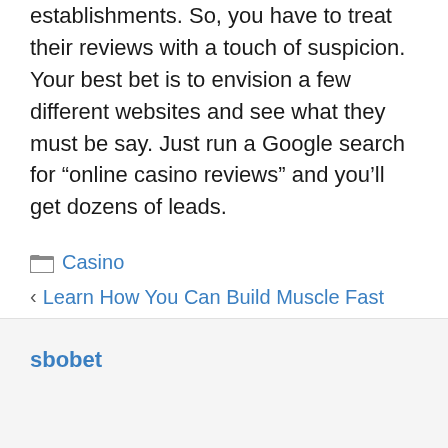establishments. So, you have to treat their reviews with a touch of suspicion. Your best bet is to envision a few different websites and see what they must be say. Just run a Google search for “online casino reviews” and you’ll get dozens of leads.
Casino
Learn How You Can Build Muscle Fast
Why The Time Beneficial To Gamble A Number Of Casinos
sbobet